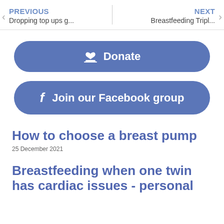PREVIOUS Dropping top ups g... | NEXT Breastfeeding Tripl...
Donate
Join our Facebook group
How to choose a breast pump
25 December 2021
Breastfeeding when one twin has cardiac issues - personal